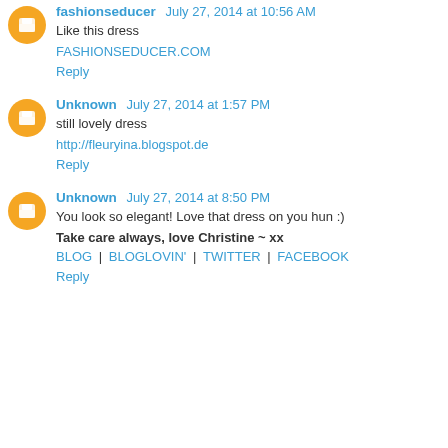fashionseducer July 27, 2014 at 10:56 AM
Like this dress
FASHIONSEDUCER.COM
Reply
Unknown July 27, 2014 at 1:57 PM
still lovely dress
http://fleuryina.blogspot.de
Reply
Unknown July 27, 2014 at 8:50 PM
You look so elegant! Love that dress on you hun :)
Take care always, love Christine ~ xx
BLOG | BLOGLOVIN' | TWITTER | FACEBOOK
Reply